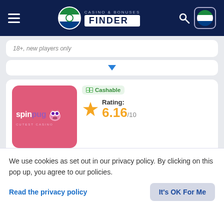Casino & Bonuses Finder
18+, new players only
[Figure (other): Dropdown selector bar with blue downward arrow]
[Figure (logo): SpinPug casino logo - pink background with SpinPug text and pug face]
Cashable
Rating: 6.16/10
Available for players from Sierra Leone
Welcome Bonus: 500%
We use cookies as set out in our privacy policy. By clicking on this pop up, you agree to our policies.
Read the privacy policy
It's OK For Me